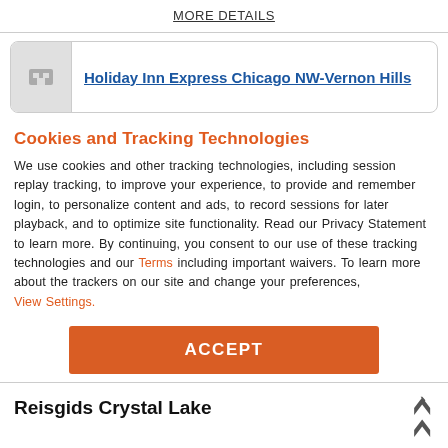MORE DETAILS
Holiday Inn Express Chicago NW-Vernon Hills
Cookies and Tracking Technologies
We use cookies and other tracking technologies, including session replay tracking, to improve your experience, to provide and remember login, to personalize content and ads, to record sessions for later playback, and to optimize site functionality. Read our Privacy Statement to learn more. By continuing, you consent to our use of these tracking technologies and our Terms including important waivers. To learn more about the trackers on our site and change your preferences, View Settings.
ACCEPT
Reisgids Crystal Lake